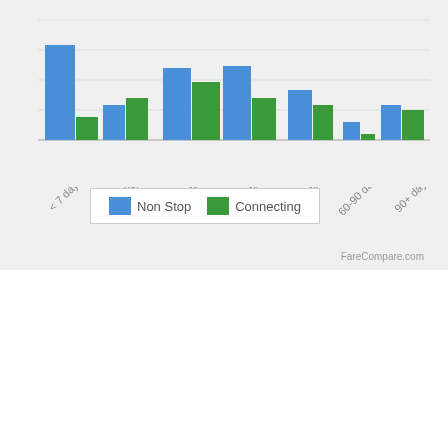[Figure (grouped-bar-chart): Cheapest Day To Fly from Omaha to Seattle]
Cheapest Day To Fly from Omaha to Seattle